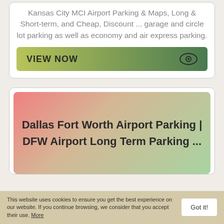Kansas City MCI Airport Parking & Maps, Long & Short-term, and Cheap, Discount ... garage and circle lot parking as well as economy and air express parking.
[Figure (other): Green gradient button with text VIEW NOW and an eye icon]
Dallas Fort Worth Airport Parking | DFW Airport Long Term Parking ...
This website uses cookies to ensure you get the best experience on our website. If you continue browsing, we consider that you accept their use. More